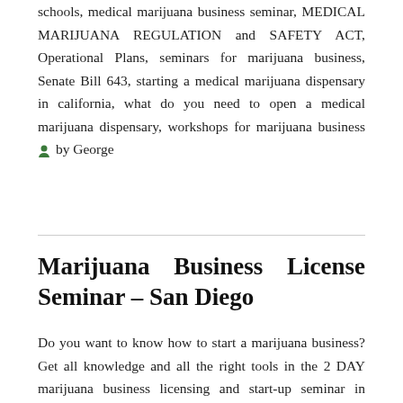schools, medical marijuana business seminar, MEDICAL MARIJUANA REGULATION and SAFETY ACT, Operational Plans, seminars for marijuana business, Senate Bill 643, starting a medical marijuana dispensary in california, what do you need to open a medical marijuana dispensary, workshops for marijuana business 👤 by George
Marijuana Business License Seminar – San Diego
Do you want to know how to start a marijuana business? Get all knowledge and all the right tools in the 2 DAY marijuana business licensing and start-up seminar in Sacramento. On September 24 & 25, 2016 – 420 College will